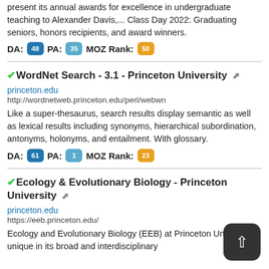present its annual awards for excellence in undergraduate teaching to Alexander Davis,... Class Day 2022: Graduating seniors, honors recipients, and award winners.
DA: 48  PA: 35  MOZ Rank: 50
✔WordNet Search - 3.1 - Princeton University
princeton.edu
http://wordnetweb.princeton.edu/perl/webwn
Like a super-thesaurus, search results display semantic as well as lexical results including synonyms, hierarchical subordination, antonyms, holonyms, and entailment. With glossary.
DA: 61  PA: 1  MOZ Rank: 23
✔Ecology & Evolutionary Biology - Princeton University
princeton.edu
https://eeb.princeton.edu/
Ecology and Evolutionary Biology (EEB) at Princeton University is unique in its broad and interdisciplinary